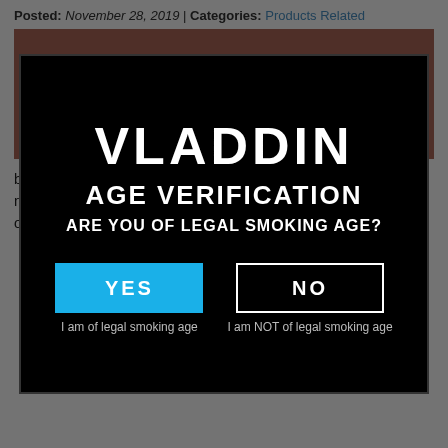Posted: November 28, 2019 | Categories: Products Related
[Figure (screenshot): Brown/terracotta banner with text 'VLADDIN Q&A PART 4' in gold letters]
[Figure (screenshot): Age verification modal overlay on black background. Contains VLADDIN logo, 'AGE VERIFICATION' heading, 'ARE YOU OF LEGAL SMOKING AGE?' subheading, YES button (blue) with label 'I am of legal smoking age', NO button (outlined white) with label 'I am NOT of legal smoking age']
but it varies with different states/countries. This product should not be used by minors, non-smokers, women who are pregnant or